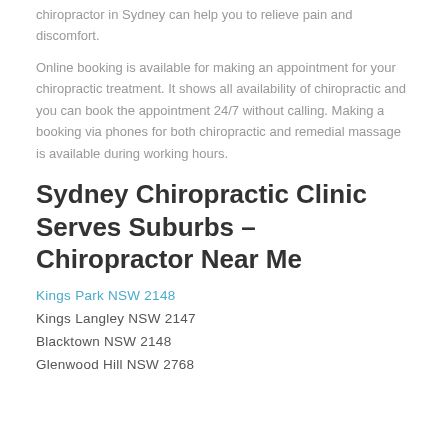chiropractor in Sydney can help you to relieve pain and discomfort.
Online booking is available for making an appointment for your chiropractic treatment. It shows all availability of chiropractic and you can book the appointment 24/7 without calling. Making a booking via phones for both chiropractic and remedial massage is available during working hours.
Sydney Chiropractic Clinic Serves Suburbs – Chiropractor Near Me
Kings Park NSW 2148
Kings Langley NSW 2147
Blacktown NSW 2148
Glenwood Hill NSW 2768